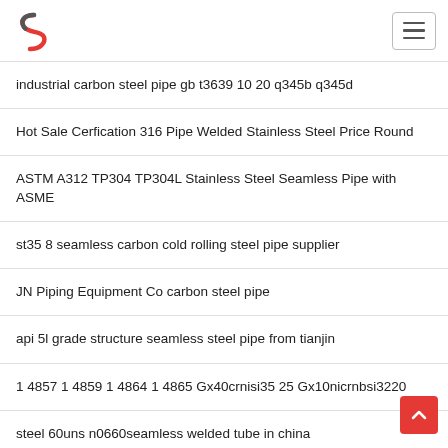industrial carbon steel pipe gb t3639 10 20 q345b q345d
Hot Sale Cerfication 316 Pipe Welded Stainless Steel Price Round
ASTM A312 TP304 TP304L Stainless Steel Seamless Pipe with ASME
st35 8 seamless carbon cold rolling steel pipe supplier
JN Piping Equipment Co carbon steel pipe
api 5l grade structure seamless steel pipe from tianjin
1 4857 1 4859 1 4864 1 4865 Gx40crnisi35 25 Gx10nicrnbsi3220
steel 60uns n0660seamless welded tube in china